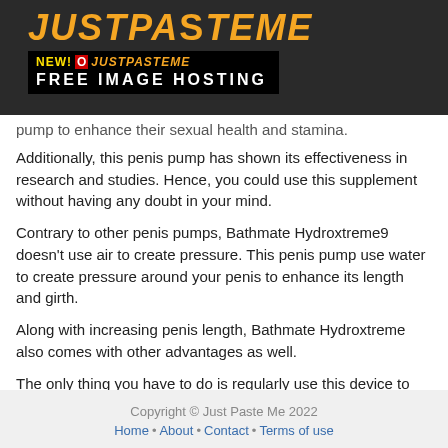[Figure (logo): JustPasteMe logo in orange on dark background with 'NEW! JustPasteMe FREE IMAGE HOSTING' banner below]
pump to enhance their sexual health and stamina.
Additionally, this penis pump has shown its effectiveness in research and studies. Hence, you could use this supplement without having any doubt in your mind.
Contrary to other penis pumps, Bathmate Hydroxtreme9 doesn't use air to create pressure. This penis pump use water to create pressure around your penis to enhance its length and girth.
Along with increasing penis length, Bathmate Hydroxtreme also comes with other advantages as well.
The only thing you have to do is regularly use this device to create pressure around your penis to get the desired outcome.
Copyright © Just Paste Me 2022
Home • About • Contact • Terms of use